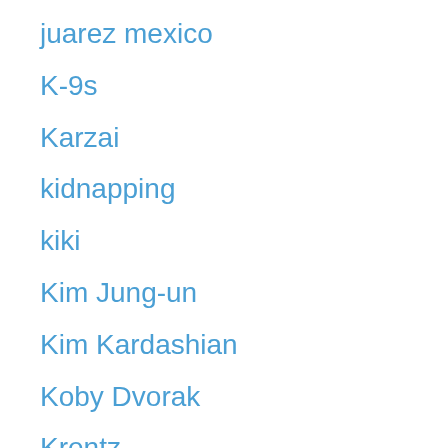juarez mexico
K-9s
Karzai
kidnapping
kiki
Kim Jung-un
Kim Kardashian
Koby Dvorak
Krentz
kyl
LA County
La Raza
La Raza SPLC
LaGuardia
lamp lighters
Laredo PD
laredo police dept.
Laredo Texas
Larry Link
Larry Link murder